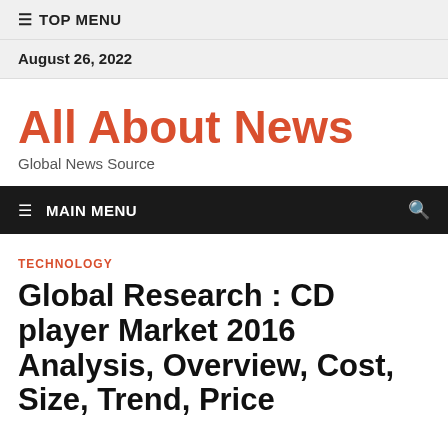☰ TOP MENU
August 26, 2022
All About News
Global News Source
☰ MAIN MENU
TECHNOLOGY
Global Research : CD player Market 2016 Analysis, Overview, Cost, Size, Trend, Price